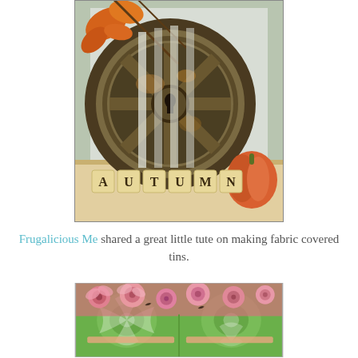[Figure (photo): Photo of an autumn-themed vignette with a large rusty industrial wheel, scrabble tiles spelling AUTUMN, orange pumpkin, and fall leaves.]
Frugalicious Me shared a great little tute on making fabric covered tins.
[Figure (photo): Photo of fabric covered tins with pink floral and green damask patterned fabric.]